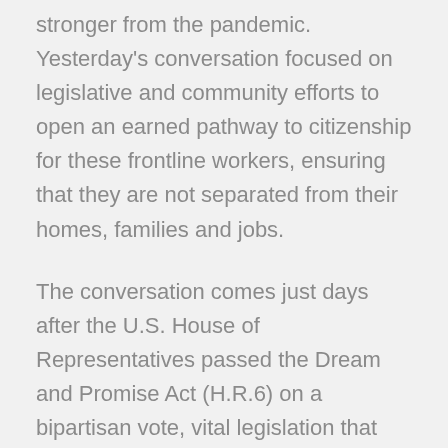stronger from the pandemic. Yesterday's conversation focused on legislative and community efforts to open an earned pathway to citizenship for these frontline workers, ensuring that they are not separated from their homes, families and jobs.
The conversation comes just days after the U.S. House of Representatives passed the Dream and Promise Act (H.R.6) on a bipartisan vote, vital legislation that would create a pathway to citizenship for millions of Dreamers and TPS holders who have contributed to the United States for decades. Individuals eligible for protections under the Dream and Promise Act are already employed and working in American communities, where they contribute billions of dollars in GDP and tax revenue each year in every state in the country. Florida alone is home to